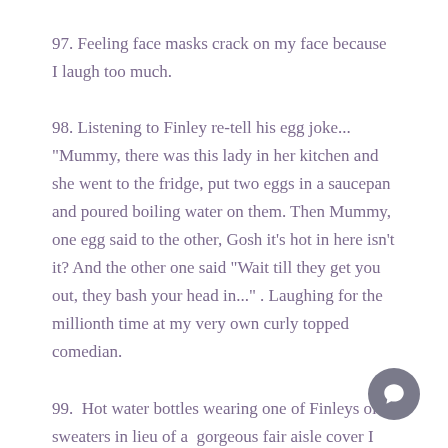97. Feeling face masks crack on my face because I laugh too much.
98. Listening to Finley re-tell his egg joke... "Mummy, there was this lady in her kitchen and she went to the fridge, put two eggs in a saucepan  and poured boiling water on them. Then Mummy, one egg said to the other, Gosh it's hot in here isn't it? And the other one said "Wait till they get you out, they bash your head in..." . Laughing for the millionth time at my very own curly topped comedian.
99.  Hot water bottles wearing one of Finleys old sweaters in lieu of a  gorgeous fair aisle cover I haven't